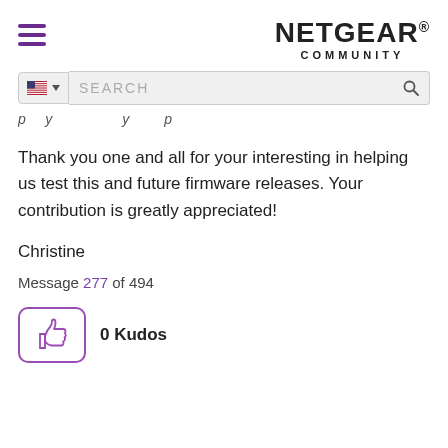NETGEAR® COMMUNITY
Thank you one and all for your interesting in helping us test this and future firmware releases. Your contribution is greatly appreciated!
Christine
Message 277 of 494
0 Kudos